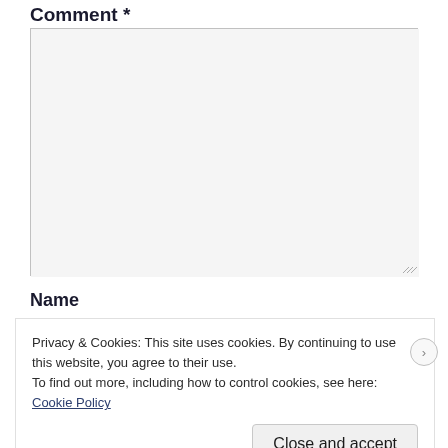Comment *
[Figure (other): Empty textarea input field with light gray background and resize handle at bottom-right corner]
Name
Privacy & Cookies: This site uses cookies. By continuing to use this website, you agree to their use.
To find out more, including how to control cookies, see here:
Cookie Policy
Close and accept